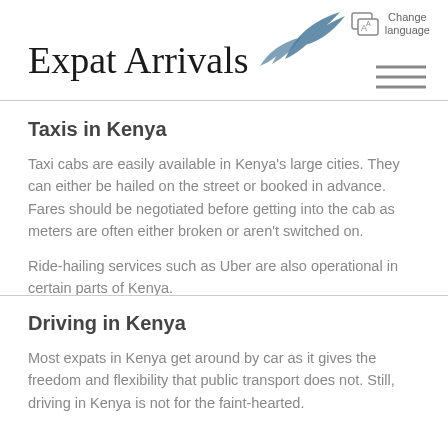Expat Arrivals
Taxis in Kenya
Taxi cabs are easily available in Kenya's large cities. They can either be hailed on the street or booked in advance. Fares should be negotiated before getting into the cab as meters are often either broken or aren't switched on.
Ride-hailing services such as Uber are also operational in certain parts of Kenya.
Driving in Kenya
Most expats in Kenya get around by car as it gives the freedom and flexibility that public transport does not. Still, driving in Kenya is not for the faint-hearted.